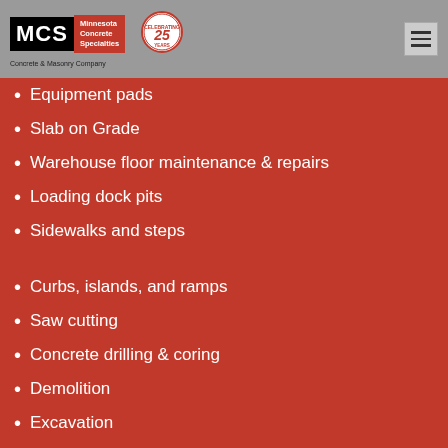[Figure (logo): MCS Minnesota Concrete Specialties logo with Concrete & Masonry Company subtitle and 25 Years celebrating anniversary badge]
Equipment pads
Slab on Grade
Warehouse floor maintenance & repairs
Loading dock pits
Sidewalks and steps
Curbs, islands, and ramps
Saw cutting
Concrete drilling & coring
Demolition
Excavation